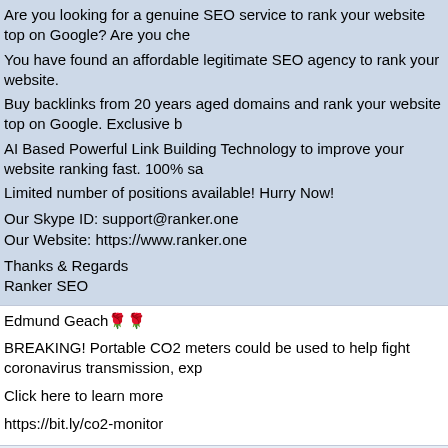Are you looking for a genuine SEO service to rank your website top on Google? Are you che
You have found an affordable legitimate SEO agency to rank your website.
Buy backlinks from 20 years aged domains and rank your website top on Google. Exclusive b
AI Based Powerful Link Building Technology to improve your website ranking fast. 100% sa
Limited number of positions available! Hurry Now!
Our Skype ID: support@ranker.one
Our Website: https://www.ranker.one
Thanks & Regards
Ranker SEO
Edmund Geach🌹🌹
BREAKING! Portable CO2 meters could be used to help fight coronavirus transmission, exp
Click here to learn more
https://bit.ly/co2-monitor
Horny Shriya🌹🌹🌹
Horny Shriya sent you 2 pics yesterday. She is online now.
Click the link below to view the message and reply to her.
https://sexlovers.club/chat/HornyShriya/